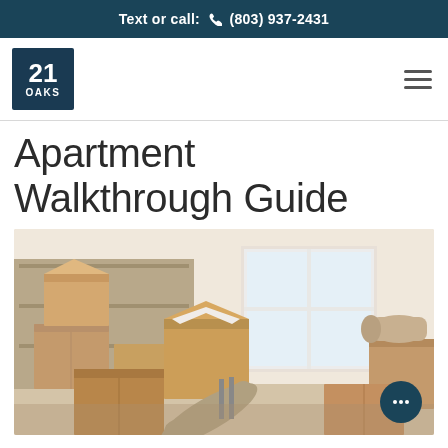Text or call: (803) 937-2431
[Figure (logo): 21 Oaks apartment logo — dark teal square with '21' large and 'OAKS' below]
Apartment Walkthrough Guide
[Figure (photo): Photo of moving boxes stacked in an empty apartment room with a window letting in natural light]